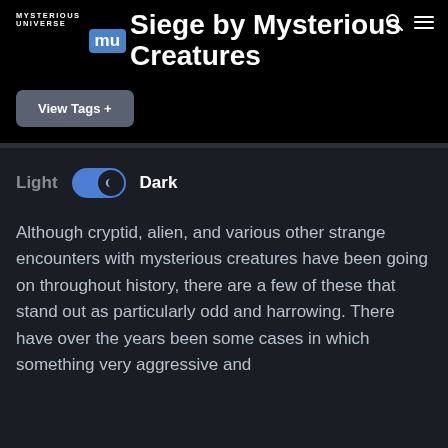MYSTERIOUS UNIVERSE | mu
Siege by Mysterious Creatures
View Tags +
Light   Dark
Although cryptid, alien, and various other strange encounters with mysterious creatures have been going on throughout history, there are a few of these that stand out as particularly odd and harrowing. There have over the years been some cases in which something very aggressive and